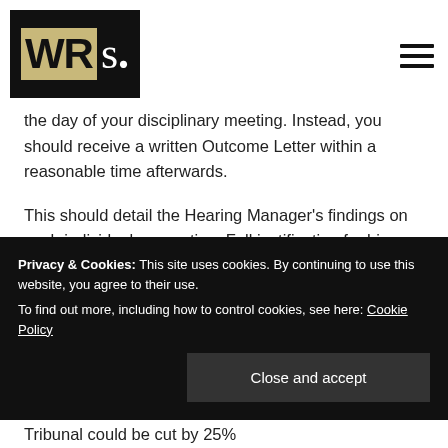WRs.
the day of your disciplinary meeting. Instead, you should receive a written Outcome Letter within a reasonable time afterwards.
This should detail the Hearing Manager's findings on each individual accusation. Full justification for his or her findings. And, where necessary, any proposed disciplinary sanctions. For gross misconduct, you could potentially be dismissed.
Privacy & Cookies: This site uses cookies. By continuing to use this website, you agree to their use.
To find out more, including how to control cookies, see here: Cookie Policy
Close and accept
Tribunal could be cut by 25%